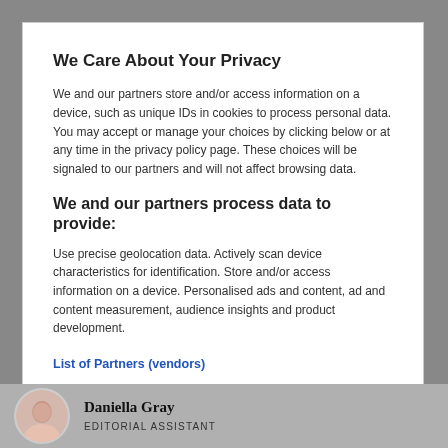We Care About Your Privacy
We and our partners store and/or access information on a device, such as unique IDs in cookies to process personal data. You may accept or manage your choices by clicking below or at any time in the privacy policy page. These choices will be signaled to our partners and will not affect browsing data.
We and our partners process data to provide:
Use precise geolocation data. Actively scan device characteristics for identification. Store and/or access information on a device. Personalised ads and content, ad and content measurement, audience insights and product development.
List of Partners (vendors)
Manage Preferences
I Accept
Daniella Gray
EDITORIAL ASSISTANT